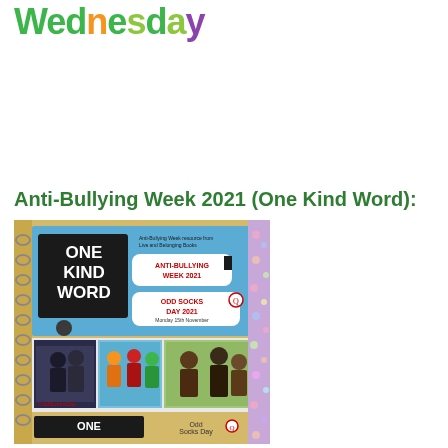Wednesday
Anti-Bullying Week 2021 (One Kind Word):
[Figure (photo): Book cover for 'One Kind Word' Anti-Bullying Week 2021 resource pack, showing a notebook-style cover with photos of children and speech bubbles mentioning Anti-Bullying Week and Odd Socks Day.]